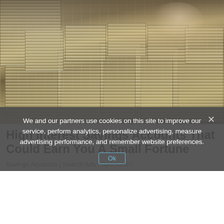[Figure (photo): Photo of a man in glasses and business attire surrounded by and handling large stacks of bundled US dollar bills piled across a desk or table, viewed from the front]
High Interest Savings Accounts That Could Earn You A Small Fortune
Savings Accounts | Search Ads | Sponsored
We and our partners use cookies on this site to improve our service, perform analytics, personalize advertising, measure advertising performance, and remember website preferences.
Ok